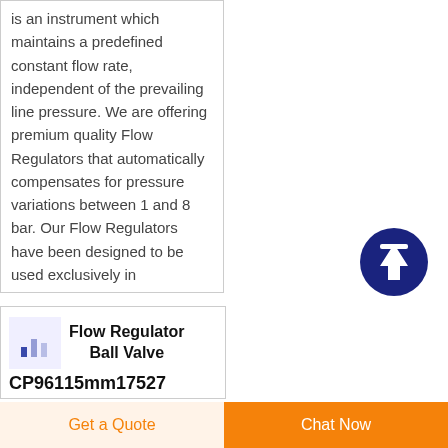is an instrument which maintains a predefined constant flow rate, independent of the prevailing line pressure. We are offering premium quality Flow Regulators that automatically compensates for pressure variations between 1 and 8 bar. Our Flow Regulators have been designed to be used exclusively in
[Figure (logo): Dark navy circle with white upward arrow scroll-to-top button]
[Figure (logo): Small bar chart icon in blue/indigo on light purple background]
Flow Regulator Ball Valve CP96115mm17527
Get a Quote
Chat Now